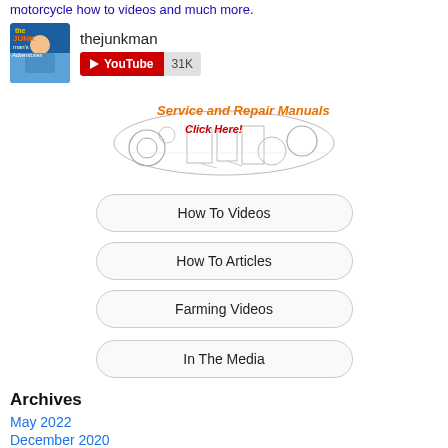motorcycle how to videos and much more.
[Figure (screenshot): YouTube channel thumbnail for 'The Junkman's Adventures' showing a man in front of a sky background, with channel name 'thejunkman' and a YouTube subscribe button showing 31K subscribers]
[Figure (illustration): Banner image showing engine parts schematic with text 'Service and Repair Manuals' in orange and 'Click Here!' in red/orange]
How To Videos
How To Articles
Farming Videos
In The Media
Archives
May 2022
December 2020